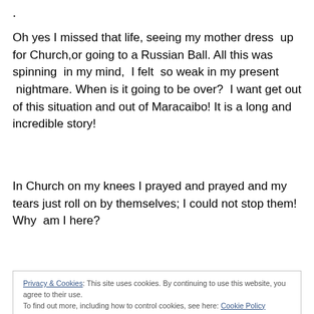.
Oh yes I missed that life, seeing my mother dress  up for Church,or going to a Russian Ball. All this was spinning  in my mind,  I felt  so weak in my present  nightmare. When is it going to be over?  I want get out of this situation and out of Maracaibo! It is a long and incredible story!
In Church on my knees I prayed and prayed and my tears just roll on by themselves; I could not stop them! Why  am I here?
Privacy & Cookies: This site uses cookies. By continuing to use this website, you agree to their use.
To find out more, including how to control cookies, see here: Cookie Policy
Close and accept